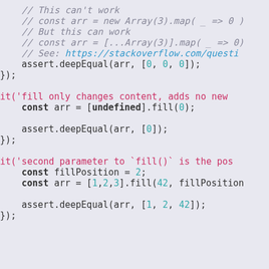// This can't work
// const arr = new Array(3).map( _ => 0 )
// But this can work
// const arr = [...Array(3)].map( _ => 0)
// See: https://stackoverflow.com/questi
assert.deepEqual(arr, [0, 0, 0]);
});

it('fill only changes content, adds no new
  const arr = [undefined].fill(0);

  assert.deepEqual(arr, [0]);
});

it('second parameter to `fill()` is the pos
  const fillPosition = 2;
  const arr = [1,2,3].fill(42, fillPosition

  assert.deepEqual(arr, [1, 2, 42]);
});